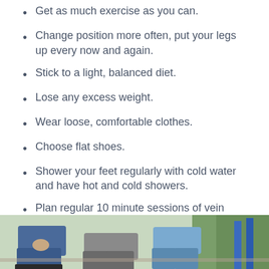Get as much exercise as you can.
Change position more often, put your legs up every now and again.
Stick to a light, balanced diet.
Lose any excess weight.
Wear loose, comfortable clothes.
Choose flat shoes.
Shower your feet regularly with cold water and have hot and cold showers.
Plan regular 10 minute sessions of vein exercises into your daily routine.
More information
[Figure (photo): Photo showing people seated outdoors, legs visible, with blue and grey clothing and greenery in background.]